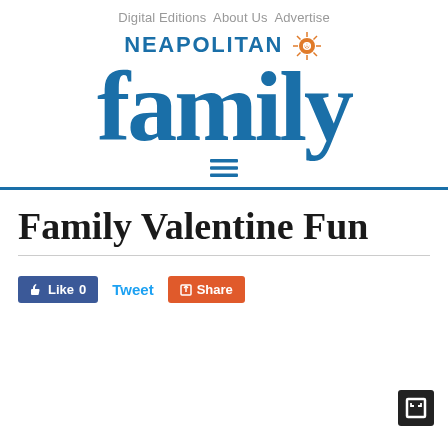Digital Editions  About Us  Advertise
[Figure (logo): Neapolitan Family magazine logo with sun icon and large blue 'family' wordmark]
[Figure (other): Hamburger menu icon (three horizontal lines)]
Family Valentine Fun
Like 0  Tweet  Share (social sharing buttons)